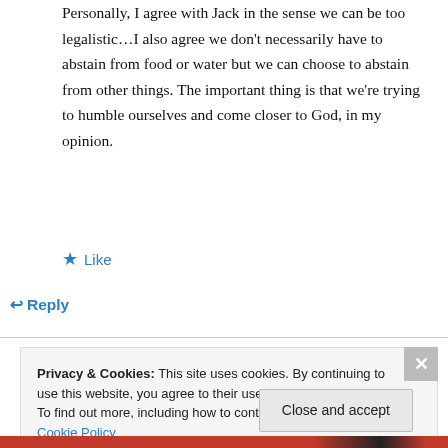Personally, I agree with Jack in the sense we can be too legalistic…I also agree we don't necessarily have to abstain from food or water but we can choose to abstain from other things. The important thing is that we're trying to humble ourselves and come closer to God, in my opinion.
★ Like
↪ Reply
Privacy & Cookies: This site uses cookies. By continuing to use this website, you agree to their use.
To find out more, including how to control cookies, see here: Cookie Policy
Close and accept